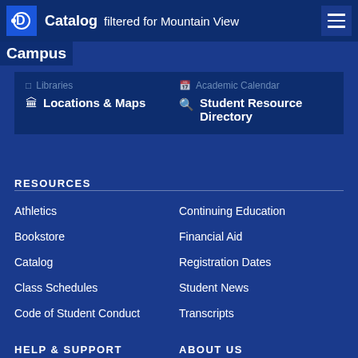Catalog filtered for Mountain View Campus
Libraries
Academic Calendar
Locations & Maps
Student Resource Directory
RESOURCES
Athletics
Continuing Education
Bookstore
Financial Aid
Catalog
Registration Dates
Class Schedules
Student News
Code of Student Conduct
Transcripts
HELP & SUPPORT
ABOUT US